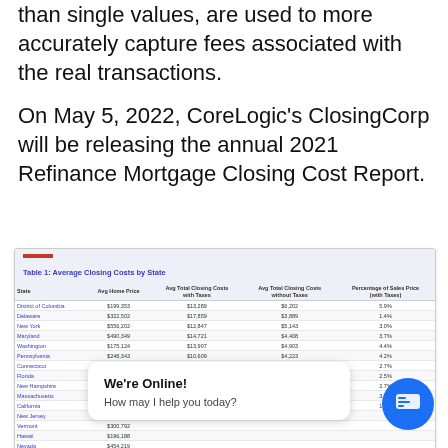than single values, are used to more accurately capture fees associated with the real transactions.
On May 5, 2022, CoreLogic's ClosingCorp will be releasing the annual 2021 Refinance Mortgage Closing Cost Report.
| State | Avg Home Price | Avg Total Closing Costs with Taxes | Avg Total Closing Costs without Taxes | Percentage of Sales Price (with Taxes) |
| --- | --- | --- | --- | --- |
| District of Columbia | $199,353 | $13,289 | $6,202 | 5.9% |
| Delaware | $322,502 | $17,859 | $3,889 | 1.4% |
| New York | $556,202 | $12,847 | $5,143 | 3.0% |
| Maryland | $490,349 | $14,721 | $4,408 | 3.7% |
| Washington | $175,124 | $13,907 | $4,903 | 4.4% |
| Pennsylvania | $248,343 | $10,609 | $4,223 | 4.2% |
| Connecticut | $419,118 | $6,021 | $4,198 | 2.7% |
| Florida | $276,133 | $8,554 | $4,488 | 2.5% |
| New Hampshire | $661,369 | $5,481 | $5,044 | 2.7% |
| Massachusetts | $644,381 | $7,904 | $4,344 | 3.9% |
| California | $730,404 | $7,202 | $5,000 | 1.0% |
| New Jersey | $443,338 |  |  |  |
| Vermont | $300,792 |  |  |  |
| Hawaii | $196,188 |  |  |  |
| Nevada | $454,219 |  |  |  |
| Virginia | $179,382 |  |  |  |
| Illinois | $283,212 |  |  |  |
| Michigan | $199,183 |  |  |  |
| Rhode Island | $412,207 |  |  |  |
| Utah | $469,948 |  |  |  |
We're Online! How may I help you today?